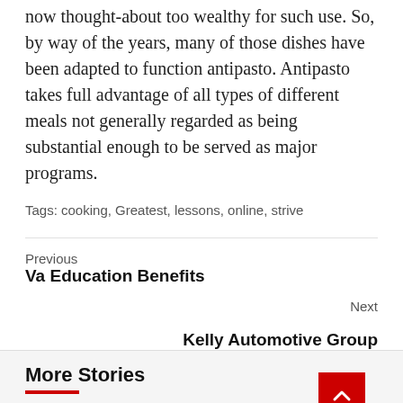now thought-about too wealthy for such use. So, by way of the years, many of those dishes have been adapted to function antipasto. Antipasto takes full advantage of all types of different meals not generally regarded as being substantial enough to be served as major programs.
Tags: cooking, Greatest, lessons, online, strive
Previous
Va Education Benefits
Next
Kelly Automotive Group
More Stories